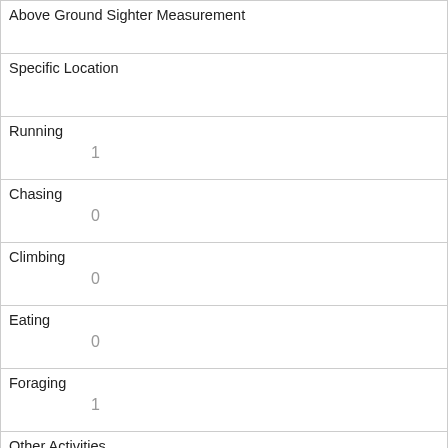| Field | Value |
| --- | --- |
| Above Ground Sighter Measurement |  |
| Specific Location |  |
| Running | 1 |
| Chasing | 0 |
| Climbing | 0 |
| Eating | 0 |
| Foraging | 1 |
| Other Activities |  |
| Kuks | 0 |
| Quaas | 0 |
| Moans |  |